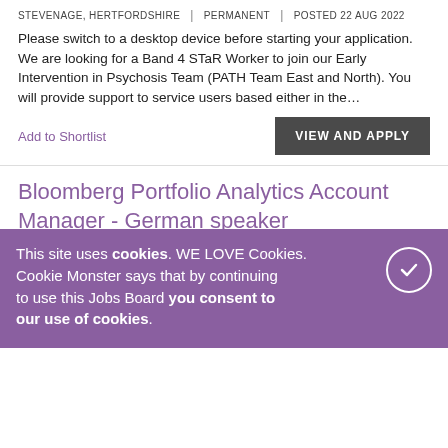STEVENAGE, HERTFORDSHIRE | PERMANENT | POSTED 22 AUG 2022
Please switch to a desktop device before starting your application. We are looking for a Band 4 STaR Worker to join our Early Intervention in Psychosis Team (PATH Team East and North). You will provide support to service users based either in the...
Add to Shortlist
VIEW AND APPLY
Bloomberg Portfolio Analytics Account Manager - German speaker
LONDON | PERMANENT | POSTED 22 AUG 2022
Portfolio Analytics team members sell, implement and support state-of-the-art enterprise level Portfolio and Risk Analytics Solutions to the world's top institutional buyside firms. Our Portfolio...als...
Add to
This site uses cookies. WE LOVE Cookies. Cookie Monster says that by continuing to use this Jobs Board you consent to our use of cookies.